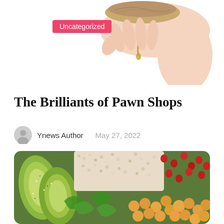[Figure (photo): A hand holding a piece of bread or food item against a white background, with an 'Uncategorized' pink badge label overlaid on the left side]
The Brilliants of Pawn Shops
Ynews Author   May 27, 2022
[Figure (photo): Close-up overhead photo of a colorful salad bowl with avocado slices, chickpeas, quinoa, pomegranate seeds, and fresh herbs]